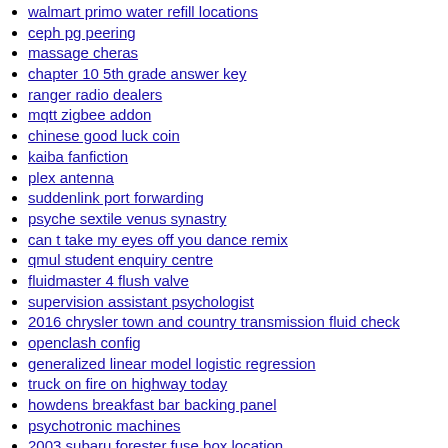walmart primo water refill locations
ceph pg peering
massage cheras
chapter 10 5th grade answer key
ranger radio dealers
mqtt zigbee addon
chinese good luck coin
kaiba fanfiction
plex antenna
suddenlink port forwarding
psyche sextile venus synastry
can t take my eyes off you dance remix
qmul student enquiry centre
fluidmaster 4 flush valve
supervision assistant psychologist
2016 chrysler town and country transmission fluid check
openclash config
generalized linear model logistic regression
truck on fire on highway today
howdens breakfast bar backing panel
psychotronic machines
2003 subaru forester fuse box location
ifconfig delete ipv6 address
bfd juniper
luto xl xtra puffs